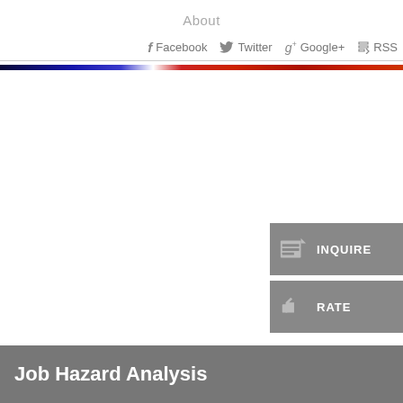About
Facebook  Twitter  Google+  RSS
[Figure (infographic): Horizontal color gradient bar transitioning from dark navy blue on the left through white in the center to deep red on the right]
[Figure (infographic): INQUIRE button with document/form icon on a grey background]
[Figure (infographic): RATE button with thumbs-up icon on a grey background]
Job Hazard Analysis